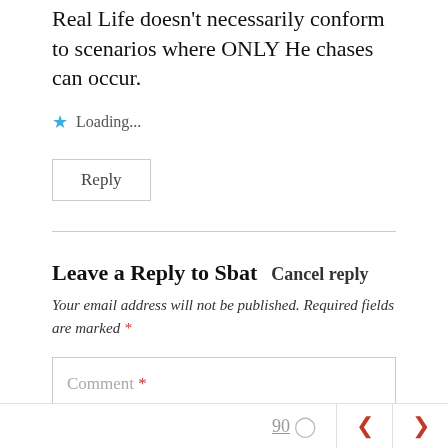Real Life doesn't necessarily conform to scenarios where ONLY He chases can occur.
Loading...
Reply
Leave a Reply to Sbat   Cancel reply
Your email address will not be published. Required fields are marked *
Comment *
90